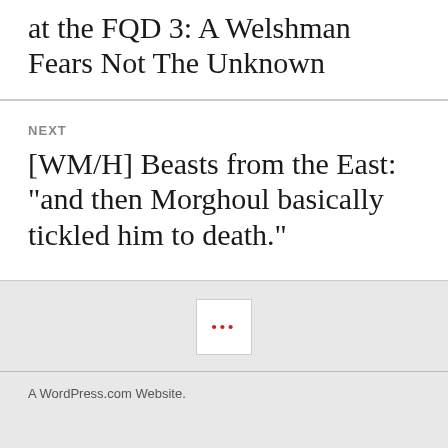at the FQD 3: A Welshman Fears Not The Unknown
NEXT
[WM/H] Beasts from the East: "and then Morghoul basically tickled him to death."
[Figure (other): A small white box containing three red dots (ellipsis button)]
A WordPress.com Website.